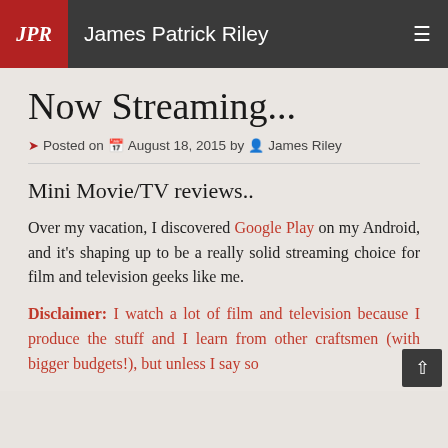James Patrick Riley
Now Streaming...
Posted on August 18, 2015 by James Riley
Mini Movie/TV reviews..
Over my vacation, I discovered Google Play on my Android, and it's shaping up to be a really solid streaming choice for film and television geeks like me.
Disclaimer:  I watch a lot of film and television because I produce the stuff and I learn from other craftsmen (with bigger budgets!), but unless I say so